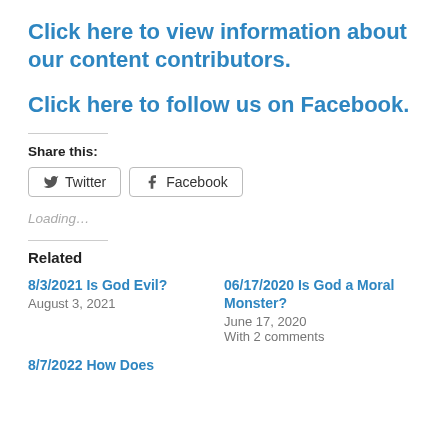Click here to view information about our content contributors.
Click here to follow us on Facebook.
Share this:
Twitter  Facebook
Loading…
Related
8/3/2021 Is God Evil?
August 3, 2021
06/17/2020 Is God a Moral Monster?
June 17, 2020
With 2 comments
8/7/2022 How Does